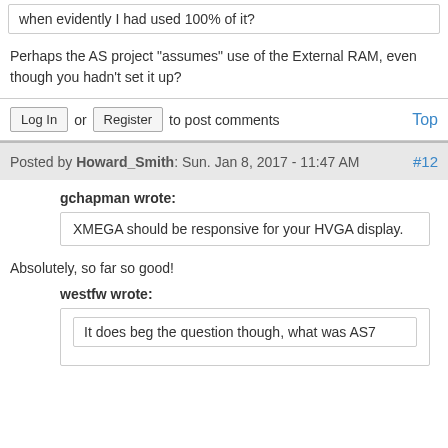when evidently I had used 100% of it?
Perhaps the AS project "assumes" use of the External RAM, even though you hadn't set it up?
Log In or Register to post comments
Top
Posted by Howard_Smith: Sun. Jan 8, 2017 - 11:47 AM
#12
gchapman wrote:
XMEGA should be responsive for your HVGA display.
Absolutely, so far so good!
westfw wrote:
It does beg the question though, what was AS7